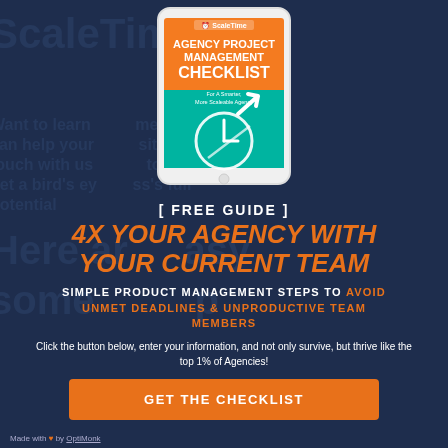[Figure (illustration): A tablet/iPad displaying the 'Agency Project Management Checklist' book cover with orange background and teal checklist graphic]
[ FREE GUIDE ]
4X YOUR AGENCY WITH YOUR CURRENT TEAM
SIMPLE PRODUCT MANAGEMENT STEPS TO AVOID UNMET DEADLINES & UNPRODUCTIVE TEAM MEMBERS
Click the button below, enter your information, and not only survive, but thrive like the top 1% of Agencies!
GET THE CHECKLIST
Made with ♥ by OptiMonk